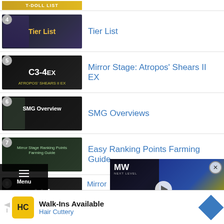[Figure (screenshot): Truncated top row showing T-DOLL LIST thumbnail]
4 Tier List
5 Mirror Stage: Atropos' Shears II EX
6 SMG Overviews
7 Easy Ranking Points Farming Guide
8 Mirror Stage: Pand...
9 Mirror Stage: Craty...
[Figure (screenshot): Video overlay showing MW Next Level logo with Splatoon 3 Direct text and play button, with close X button]
[Figure (screenshot): Burger menu button at bottom left with Menu text]
[Figure (screenshot): Advertisement banner for Hair Cuttery - Walk-Ins Available]